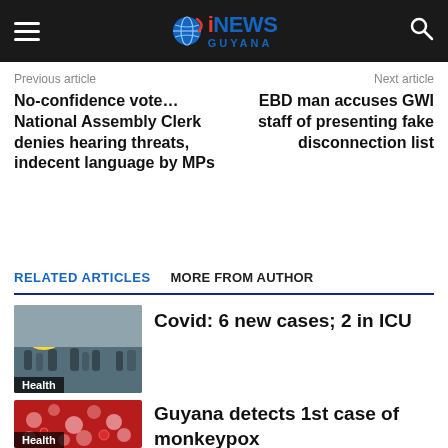iNEWS GUYANA
Previous article
Next article
No-confidence vote…National Assembly Clerk denies hearing threats, indecent language by MPs
EBD man accuses GWI staff of presenting fake disconnection list
RELATED ARTICLES   MORE FROM AUTHOR
Covid: 6 new cases; 2 in ICU
Guyana detects 1st case of monkeypox